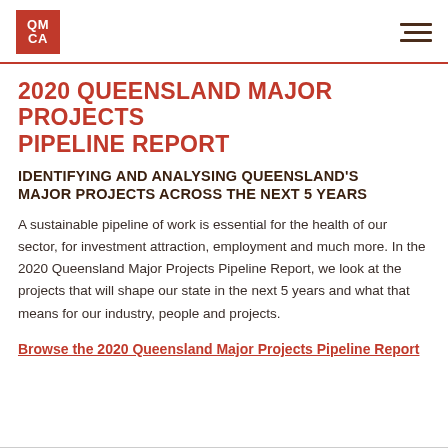QMCA logo and navigation
2020 QUEENSLAND MAJOR PROJECTS PIPELINE REPORT
IDENTIFYING AND ANALYSING QUEENSLAND'S MAJOR PROJECTS ACROSS THE NEXT 5 YEARS
A sustainable pipeline of work is essential for the health of our sector, for investment attraction, employment and much more. In the 2020 Queensland Major Projects Pipeline Report, we look at the projects that will shape our state in the next 5 years and what that means for our industry, people and projects.
Browse the 2020 Queensland Major Projects Pipeline Report